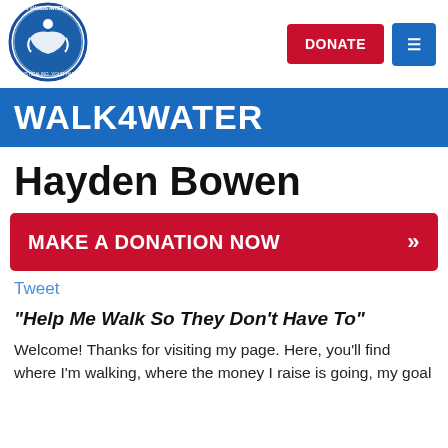[Figure (logo): Healing Hands International circular logo with blue border, white background, person figure with hands, text reading 'HEALING HANDS INTERNATIONAL' and 'GOD'S HEALING. YOUR HANDS.']
WALK4WATER
Hayden Bowen
MAKE A DONATION NOW »
Tweet
"Help Me Walk So They Don't Have To"
Welcome! Thanks for visiting my page. Here, you'll find where I'm walking, where the money I raise is going, my goal